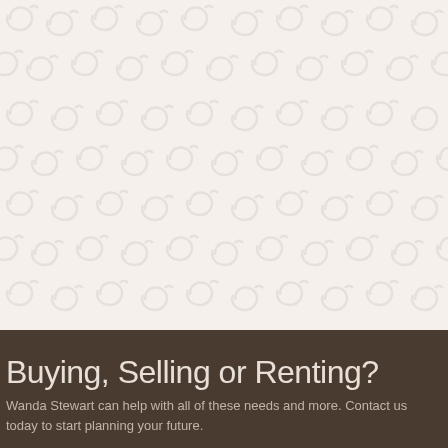[Figure (illustration): Decorative swirl/scroll pattern background on light cream/off-white background filling the upper portion of the page]
Buying, Selling or Renting?
Wanda Stewart can help with all of these needs and more. Contact us today to start planning your future.